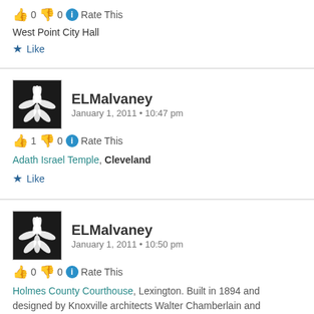👍 0 👎 0 ℹ Rate This
West Point City Hall
★ Like
ELMalvaney January 1, 2011 • 10:47 pm
👍 1 👎 0 ℹ Rate This
Adath Israel Temple, Cleveland
★ Like
ELMalvaney January 1, 2011 • 10:50 pm
👍 0 👎 0 ℹ Rate This
Holmes County Courthouse, Lexington. Built in 1894 and designed by Knoxville architects Walter Chamberlain and